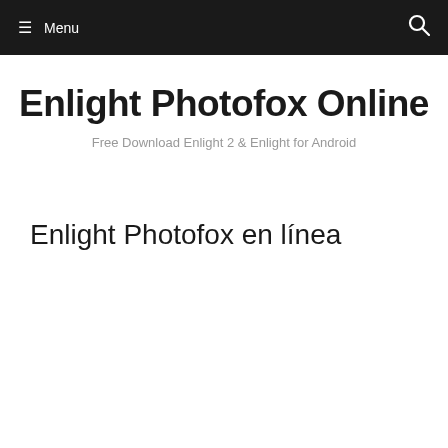☰ Menu
Enlight Photofox Online
Free Download Enlight 2 & Enlight for Android
Enlight Photofox en línea